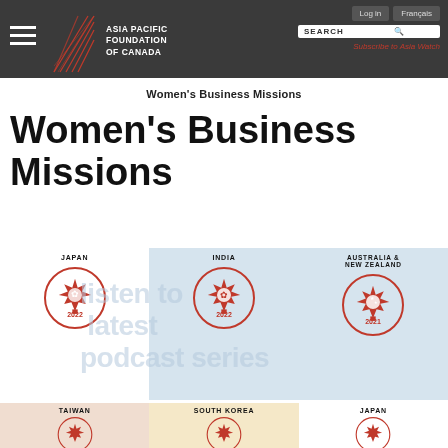[Figure (screenshot): Asia Pacific Foundation of Canada website navigation bar with hamburger menu, logo, Log in and Français buttons, search bar, and Subscribe to Asia Watch link]
Women's Business Missions
Women's Business Missions
[Figure (illustration): Grid of Women's Business Missions destination cards: Japan 2022, India 2022, Australia & New Zealand 2021 (top row); Taiwan, South Korea, Japan (bottom row partial). Each card has a circular Canadian maple leaf badge with year and destination symbol. Background overlay text reads 'listen to latest podcast series'.]